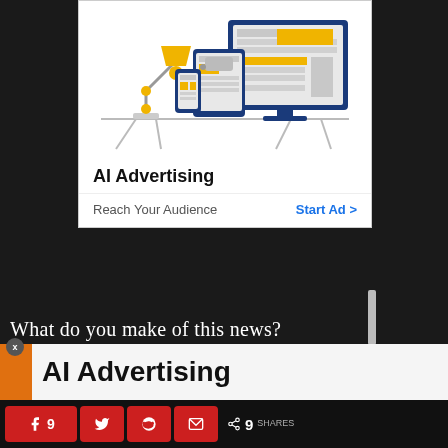[Figure (illustration): AI Advertising banner ad with illustration of desk lamp and devices (phone, tablet, monitor) showing layout placeholders in yellow and gray]
AI Advertising
Reach Your Audience    Start Ad >
What do you make of this news?
Are you one of the many people who believe that J.J. Abrams and Lucasfilm should
AI Advertising
9  [facebook]  9  [twitter]  [reddit]  [email]  < 9 SHARES